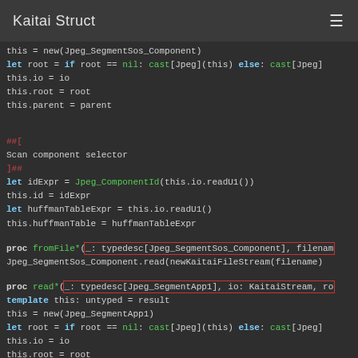Kaitai Struct
Code snippet showing Nim/Kaitai Struct generated code for Jpeg_SegmentSos_Component and Jpeg_SegmentApp1 parsing routines